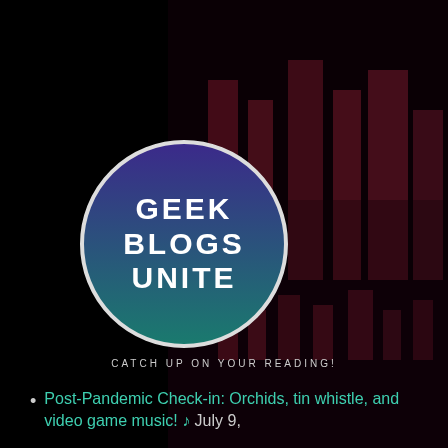[Figure (logo): Circular logo with gradient background (purple to teal) and white bold uppercase text reading GEEK BLOGS UNITE]
CATCH UP ON YOUR READING!
Post-Pandemic Check-in: Orchids, tin whistle, and video game music! ♪ July 9,